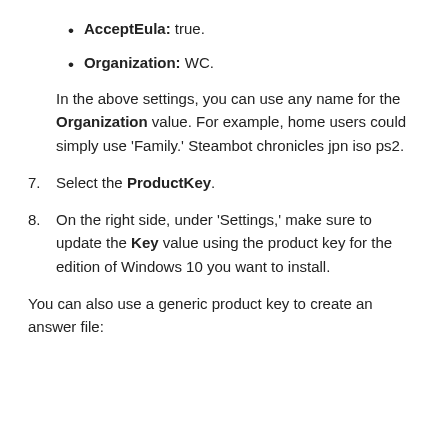AcceptEula: true.
Organization: WC.
In the above settings, you can use any name for the Organization value. For example, home users could simply use 'Family.' Steambot chronicles jpn iso ps2.
7. Select the ProductKey.
8. On the right side, under 'Settings,' make sure to update the Key value using the product key for the edition of Windows 10 you want to install.
You can also use a generic product key to create an answer file: